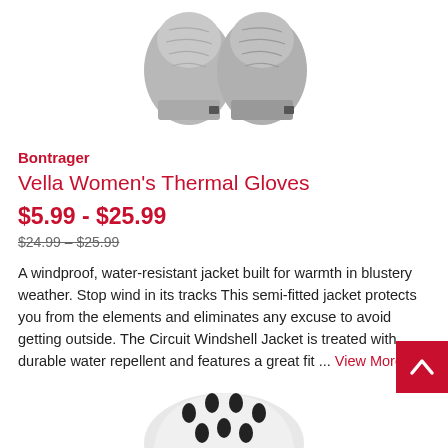[Figure (photo): Gray thermal gloves (mittens) with wrist straps, shown from above on white background]
Bontrager
Vella Women's Thermal Gloves
$5.99 - $25.99
$24.99 – $25.99
A windproof, water-resistant jacket built for warmth in blustery weather. Stop wind in its tracks This semi-fitted jacket protects you from the elements and eliminates any excuse to avoid getting outside. The Circuit Windshell Jacket is treated with durable water repellent and features a great fit ... View More
[Figure (photo): White bicycle/sports helmet with ventilation holes, shown from the side on white background]